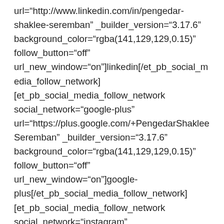url="http://www.linkedin.com/in/pengedar-shaklee-seremban" _builder_version="3.17.6" background_color="rgba(141,129,129,0.15)" follow_button="off" url_new_window="on"]linkedin[/et_pb_social_media_follow_network] [et_pb_social_media_follow_network social_network="google-plus" url="https://plus.google.com/+PengedarShakleeSeremban" _builder_version="3.17.6" background_color="rgba(141,129,129,0.15)" follow_button="off" url_new_window="on"]google-plus[/et_pb_social_media_follow_network] [et_pb_social_media_follow_network social_network="instagram" url="https://www.instagram.com/pakarvitaminkulit/" _builder_version="3.17.6"